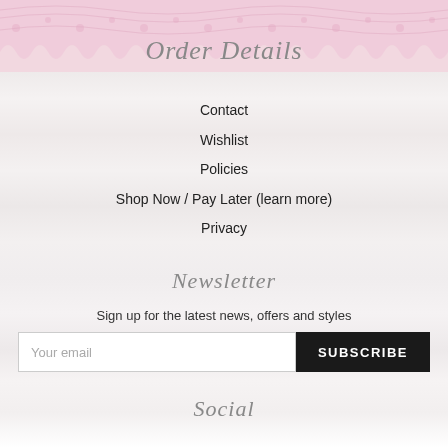Order Details
Contact
Wishlist
Policies
Shop Now / Pay Later (learn more)
Privacy
Newsletter
Sign up for the latest news, offers and styles
Your email  SUBSCRIBE
Social